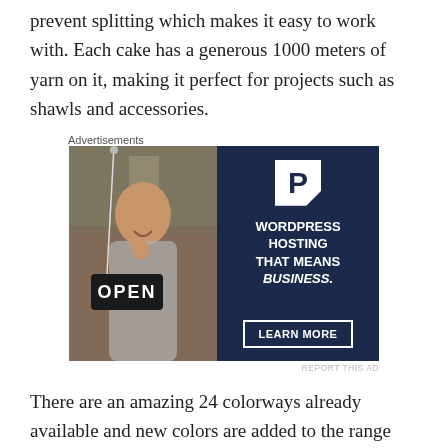prevent splitting which makes it easy to work with. Each cake has a generous 1000 meters of yarn on it, making it perfect for projects such as shawls and accessories.
Advertisements
[Figure (photo): Advertisement banner showing a woman holding an 'OPEN' sign on the left side (photo), and on the right side a dark navy background with a WordPress logo (P in white box), text 'WORDPRESS HOSTING THAT MEANS BUSINESS.' and a 'LEARN MORE' button.]
REPORT THIS AD
There are an amazing 24 colorways already available and new colors are added to the range almost every month. The colorways are named after ice cream flavors, and